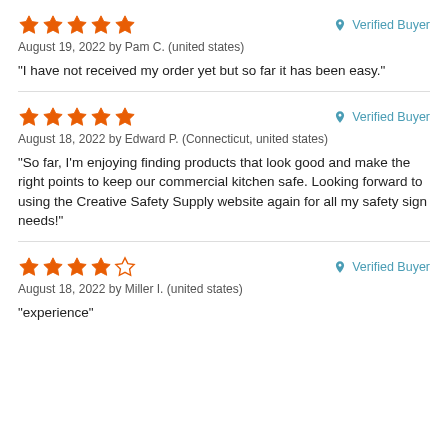★★★★★ Verified Buyer
August 19, 2022 by Pam C. (united states)
"I have not received my order yet but so far it has been easy."
★★★★★ Verified Buyer
August 18, 2022 by Edward P. (Connecticut, united states)
"So far, I'm enjoying finding products that look good and make the right points to keep our commercial kitchen safe. Looking forward to using the Creative Safety Supply website again for all my safety sign needs!"
★★★★☆ Verified Buyer
August 18, 2022 by Miller I. (united states)
"experience"